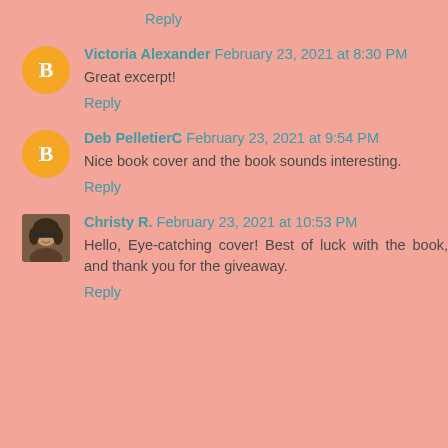Reply
Victoria Alexander  February 23, 2021 at 8:30 PM
Great excerpt!
Reply
Deb PelletierC  February 23, 2021 at 9:54 PM
Nice book cover and the book sounds interesting.
Reply
Christy R.  February 23, 2021 at 10:53 PM
Hello, Eye-catching cover! Best of luck with the book, and thank you for the giveaway.
Reply